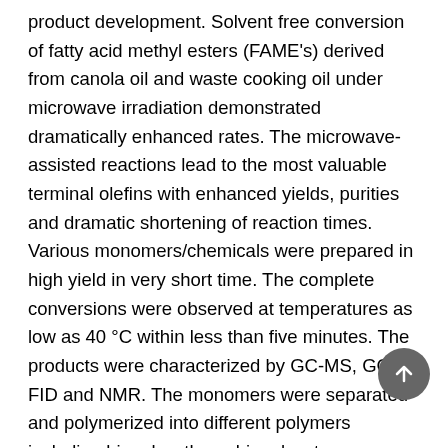product development. Solvent free conversion of fatty acid methyl esters (FAME's) derived from canola oil and waste cooking oil under microwave irradiation demonstrated dramatically enhanced rates. The microwave-assisted reactions lead to the most valuable terminal olefins with enhanced yields, purities and dramatic shortening of reaction times. Various monomers/chemicals were prepared in high yield in very short time. The complete conversions were observed at temperatures as low as 40 °C within less than five minutes. The products were characterized by GC-MS, GC-FID and NMR. The monomers were separated and polymerized into different polymers including biopolyesthers, biopolyesters, biopolyamides and biopolyolefins. The polymers were characterized in details for their structural, thermal, mechanical and viscoelastic properties. The ability for complete conversion of oils under solvent free conditions and